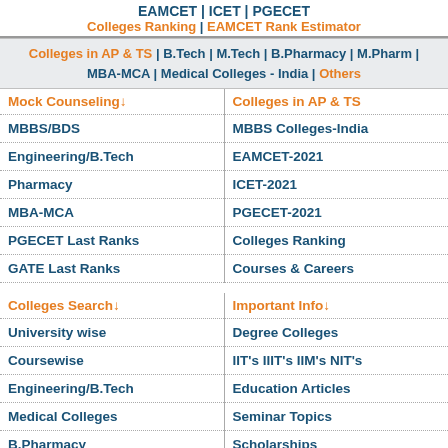EAMCET | ICET | PGECET
Colleges Ranking | EAMCET Rank Estimator
Colleges in AP & TS | B.Tech | M.Tech | B.Pharmacy | M.Pharm | MBA-MCA | Medical Colleges - India | Others
| Mock Counseling↓ | Colleges in AP & TS |
| --- | --- |
| MBBS/BDS | MBBS Colleges-India |
| Engineering/B.Tech | EAMCET-2021 |
| Pharmacy | ICET-2021 |
| MBA-MCA | PGECET-2021 |
| PGECET Last Ranks | Colleges Ranking |
| GATE Last Ranks | Courses & Careers |
| Colleges Search↓ | Important Info↓ |
| --- | --- |
| University wise | Degree Colleges |
| Coursewise | IIT's IIIT's IIM's NIT's |
| Engineering/B.Tech | Education Articles |
| Medical Colleges | Seminar Topics |
| B.Pharmacy | Scholarships |